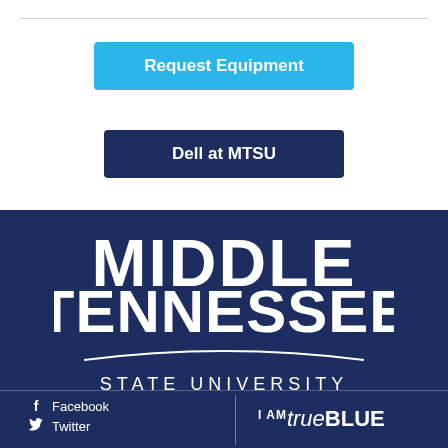[Figure (other): Cyan 'Request Equipment' button]
[Figure (other): Navy 'Dell at MTSU' button]
[Figure (logo): Middle Tennessee State University logo in white on navy background with decorative wave swoosh]
Facebook
Twitter
I AM trueBLUE